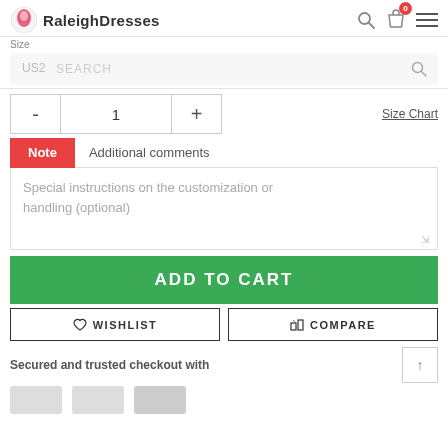RaleighDresses
Size
US2  SEARCH
- 1 +   Size Chart
Note   Additional comments
Special instructions on the customization or handling (optional)
ADD TO CART
WISHLIST
COMPARE
Secured and trusted checkout with